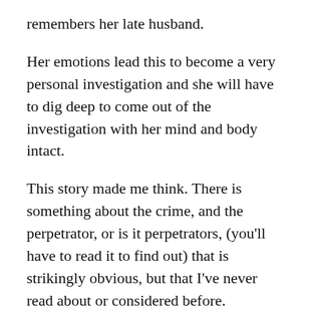remembers her late husband.
Her emotions lead this to become a very personal investigation and she will have to dig deep to come out of the investigation with her mind and body intact.
This story made me think. There is something about the crime, and the perpetrator, or is it perpetrators, (you'll have to read it to find out) that is strikingly obvious, but that I've never read about or considered before.
Carla Kovach has come up with an original plot with one hell of a twist at the end.